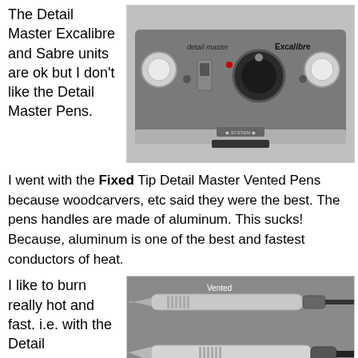The Detail Master Excalibre and Sabre units are ok but I don't like the Detail Master Pens.
[Figure (photo): Close-up photo of a Detail Master Excalibre woodburning unit, a gray metal box with knobs, switches, and two probe holders.]
I went with the Fixed Tip Detail Master Vented Pens because woodcarvers, etc said they were the best. The pens handles are made of aluminum. This sucks! Because, aluminum is one of the best and fastest conductors of heat.
I like to burn really hot and fast. i.e. with the Detail
[Figure (photo): Photo showing two Detail Master pens side by side on a gray background. The top pen is labeled 'Vented' and the bottom pen is labeled 'Standard'.]